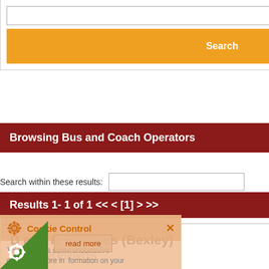[Figure (screenshot): Search input field (top, partially visible on right edge)]
Search
Browsing Bus and Coach Operators
Search within these results:
Results 1- 1 of 1 << < [1] > >>
D and R Services (Bexley)
Tel: 02083049815
83 Dorchester Avenue
Bexley
London, Greater London
DA5 3AH
United Kingdom
D and R Services (Bexley) is listed in:
Bus and Coach Operators
Bus and Coach Operators in Greater
[Figure (screenshot): Cookie Control overlay popup with orange/tan background, gear icon, X close button, text: 'This site uses some unobtrusive cookies to store information on your computer.', Confirm and deny buttons, about this tool link, read more link]